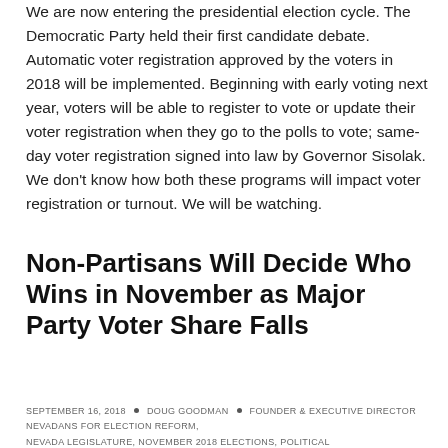We are now entering the presidential election cycle. The Democratic Party held their first candidate debate. Automatic voter registration approved by the voters in 2018 will be implemented. Beginning with early voting next year, voters will be able to register to vote or update their voter registration when they go to the polls to vote; same-day voter registration signed into law by Governor Sisolak. We don't know how both these programs will impact voter registration or turnout. We will be watching.
Non-Partisans Will Decide Who Wins in November as Major Party Voter Share Falls
SEPTEMBER 16, 2018 • DOUG GOODMAN • FOUNDER & EXECUTIVE DIRECTOR NEVADANS FOR ELECTION REFORM, NEVADA LEGISLATURE, NOVEMBER 2018 ELECTIONS, POLITICAL